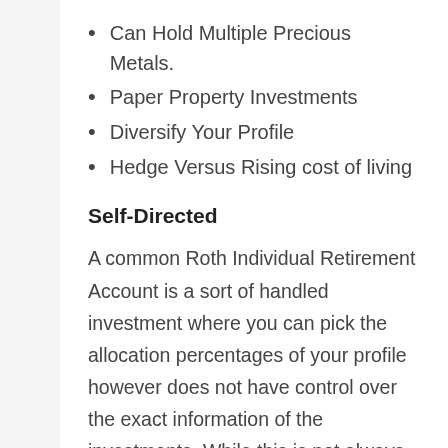Can Hold Multiple Precious Metals.
Paper Property Investments
Diversify Your Profile
Hedge Versus Rising cost of living
Self-Directed
A common Roth Individual Retirement Account is a sort of handled investment where you can pick the allocation percentages of your profile however does not have control over the exact information of the investments. While this is not always a negative point it does illuminate a bit of freedom from your option of investing options. A gold Individual Retirement Account his entirely